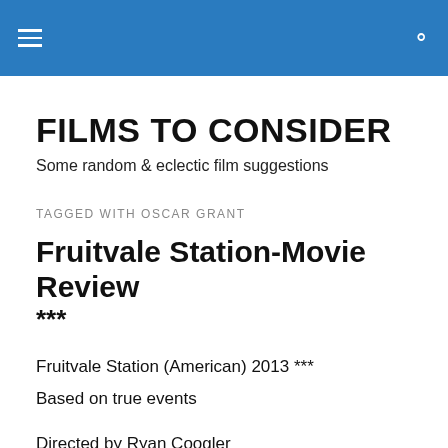FILMS TO CONSIDER — navigation header bar
FILMS TO CONSIDER
Some random & eclectic film suggestions
TAGGED WITH OSCAR GRANT
Fruitvale Station-Movie Review ***
Fruitvale Station (American) 2013 ***
Based on true events
Directed by Ryan Coogler
Starring Michael B. Jordan, Octavia Spencer, Melonie